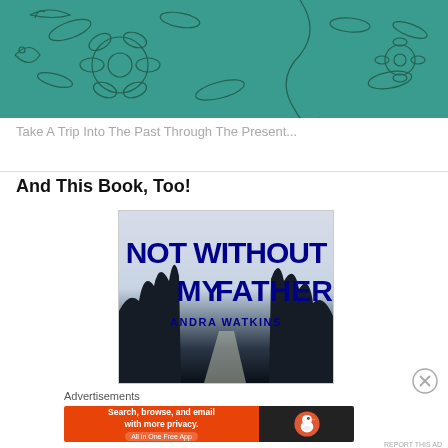[Figure (illustration): Teal/green illustrated book cover with floral and botanical line drawing motifs on a teal background]
Take A Trip Into The Past Through The Present...
And This Book, Too!
[Figure (illustration): Book cover for 'Not Without My Father' by Andra Watkins. Dark blue bold text on light background fading to dark silhouette of trees along a road.]
Advertisements
[Figure (screenshot): DuckDuckGo advertisement banner: orange section with text 'Search, browse, and email with more privacy. All in One Free App', black section with DuckDuckGo logo]